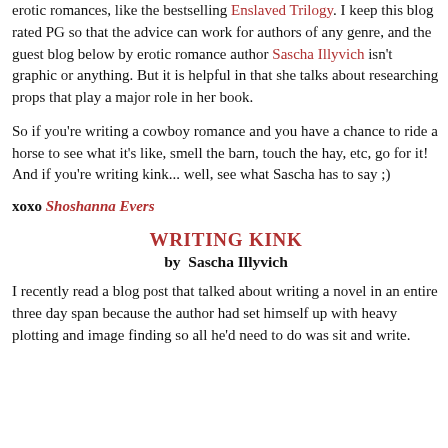erotic romances, like the bestselling Enslaved Trilogy. I keep this blog rated PG so that the advice can work for authors of any genre, and the guest blog below by erotic romance author Sascha Illyvich isn't graphic or anything. But it is helpful in that she talks about researching props that play a major role in her book.
So if you're writing a cowboy romance and you have a chance to ride a horse to see what it's like, smell the barn, touch the hay, etc, go for it! And if you're writing kink... well, see what Sascha has to say ;)
xoxo Shoshanna Evers
WRITING KINK
by  Sascha Illyvich
I recently read a blog post that talked about writing a novel in an entire three day span because the author had set himself up with heavy plotting and image finding so all he'd need to do was sit and write.